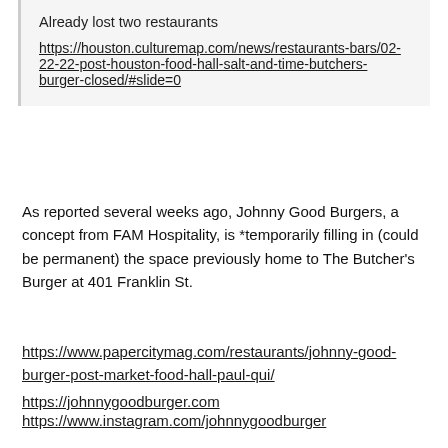Already lost two restaurants
https://houston.culturemap.com/news/restaurants-bars/02-22-22-post-houston-food-hall-salt-and-time-butchers-burger-closed/#slide=0
As reported several weeks ago, Johnny Good Burgers, a concept from FAM Hospitality, is *temporarily filling in (could be permanent) the space previously home to The Butcher's Burger at 401 Franklin St.
https://www.papercitymag.com/restaurants/johnny-good-burger-post-market-food-hall-paul-qui/
https://johnnygoodburger.com
https://www.instagram.com/johnnygoodburger